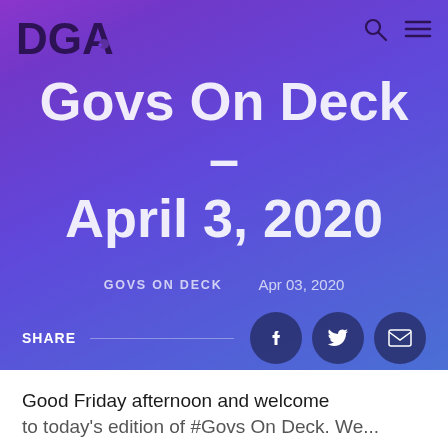DGA
Govs On Deck – April 3, 2020
GOVS ON DECK   Apr 03, 2020
SHARE
Good Friday afternoon and welcome to today's edition of #GovsOnDeck. We...